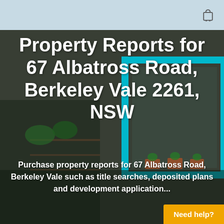[Figure (photo): Background photo of a residential apartment building with balcony, plants, and a teal-framed window. Overlaid with semi-transparent dark tones.]
Property Reports for 67 Albatross Road, Berkeley Vale 2261, NSW
Purchase property reports for 67 Albatross Road, Berkeley Vale such as title searches, deposited plans and development application...
Need help?